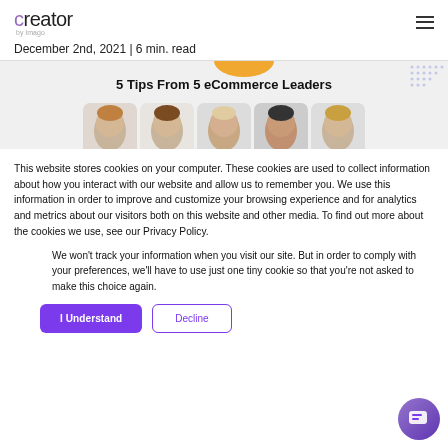creator by Imago
December 2nd, 2021 | 6 min. read
[Figure (illustration): Banner image with title '5 Tips From 5 eCommerce Leaders' showing 5 headshot photos of people]
This website stores cookies on your computer. These cookies are used to collect information about how you interact with our website and allow us to remember you. We use this information in order to improve and customize your browsing experience and for analytics and metrics about our visitors both on this website and other media. To find out more about the cookies we use, see our Privacy Policy.
We won't track your information when you visit our site. But in order to comply with your preferences, we'll have to use just one tiny cookie so that you're not asked to make this choice again.
I Understand
Decline